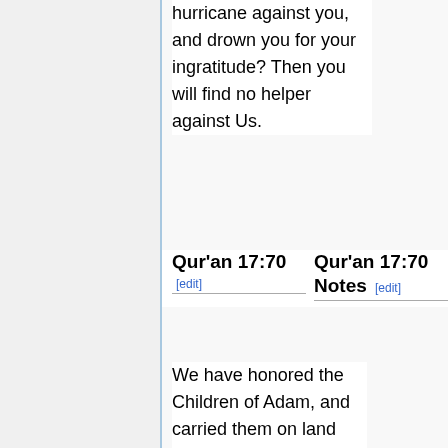hurricane against you, and drown you for your ingratitude? Then you will find no helper against Us.
Qur'an 17:70 [edit]
Qur'an 17:70 Notes [edit]
We have honored the Children of Adam, and carried them on land and sea, and provided